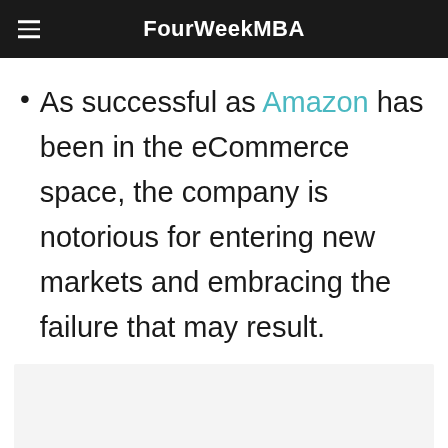FourWeekMBA
As successful as Amazon has been in the eCommerce space, the company is notorious for entering new markets and embracing the failure that may result.